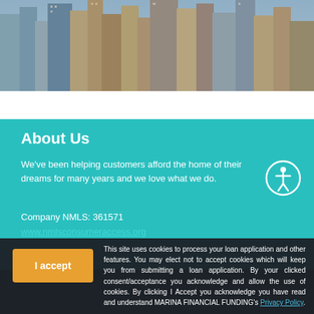[Figure (photo): Aerial cityscape photo showing tall skyscrapers and buildings from above]
About Us
We've been helping customers afford the home of their dreams for many years and we love what we do.
Company NMLS: 361571
www.nmlsconsumeraccess.org
This site uses cookies to process your loan application and other features. You may elect not to accept cookies which will keep you from submitting a loan application. By your clicked consent/acceptance you acknowledge and allow the use of cookies. By clicking I Accept you acknowledge you have read and understand MARINA FINANCIAL FUNDING's Privacy Policy.
Co
236 T...
Calabasas, CA 91302
Phone: 844-771-2656